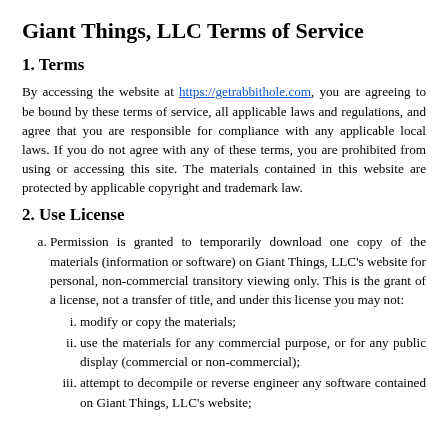Giant Things, LLC Terms of Service
1. Terms
By accessing the website at https://getrabbithole.com, you are agreeing to be bound by these terms of service, all applicable laws and regulations, and agree that you are responsible for compliance with any applicable local laws. If you do not agree with any of these terms, you are prohibited from using or accessing this site. The materials contained in this website are protected by applicable copyright and trademark law.
2. Use License
Permission is granted to temporarily download one copy of the materials (information or software) on Giant Things, LLC's website for personal, non-commercial transitory viewing only. This is the grant of a license, not a transfer of title, and under this license you may not:
modify or copy the materials;
use the materials for any commercial purpose, or for any public display (commercial or non-commercial);
attempt to decompile or reverse engineer any software contained on Giant Things, LLC's website;